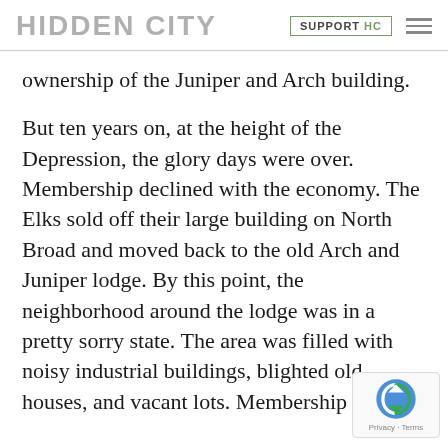HIDDEN CITY   SUPPORT HC
ownership of the Juniper and Arch building.
But ten years on, at the height of the Depression, the glory days were over. Membership declined with the economy. The Elks sold off their large building on North Broad and moved back to the old Arch and Juniper lodge. By this point, the neighborhood around the lodge was in a pretty sorry state. The area was filled with noisy industrial buildings, blighted old houses, and vacant lots. Membership